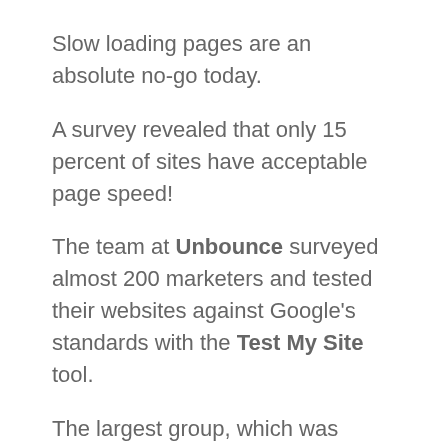Slow loading pages are an absolute no-go today.
A survey revealed that only 15 percent of sites have acceptable page speed!
The team at Unbounce surveyed almost 200 marketers and tested their websites against Google's standards with the Test My Site tool.
The largest group, which was made up of 46% of respondents, owned or managed websites that took between 6-10 seconds to load –  almost double Google's recommended speed.
(Trinity.one)
Users don't want to wait long to get the